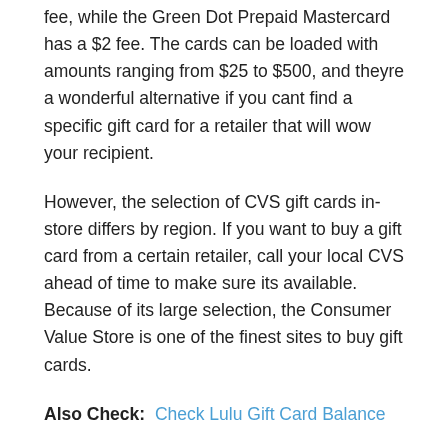fee, while the Green Dot Prepaid Mastercard has a $2 fee. The cards can be loaded with amounts ranging from $25 to $500, and theyre a wonderful alternative if you cant find a specific gift card for a retailer that will wow your recipient.
However, the selection of CVS gift cards in-store differs by region. If you want to buy a gift card from a certain retailer, call your local CVS ahead of time to make sure its available. Because of its large selection, the Consumer Value Store is one of the finest sites to buy gift cards.
Also Check: Check Lulu Gift Card Balance
Do Cvs Sell Gift Cards List Of Gift Cards Sold At Cvs